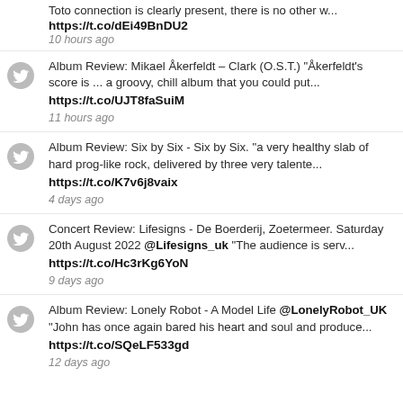Toto connection is clearly present, there is no other w... https://t.co/dEi49BnDU2 10 hours ago
Album Review: Mikael Åkerfeldt – Clark (O.S.T.) "Åkerfeldt's score is ... a groovy, chill album that you could put... https://t.co/UJT8faSuiM 11 hours ago
Album Review: Six by Six - Six by Six. "a very healthy slab of hard prog-like rock, delivered by three very talente... https://t.co/K7v6j8vaix 4 days ago
Concert Review: Lifesigns - De Boerderij, Zoetermeer. Saturday 20th August 2022 @Lifesigns_uk "The audience is serv... https://t.co/Hc3rKg6YoN 9 days ago
Album Review: Lonely Robot - A Model Life @LonelyRobot_UK "John has once again bared his heart and soul and produce... https://t.co/SQeLF533gd 12 days ago